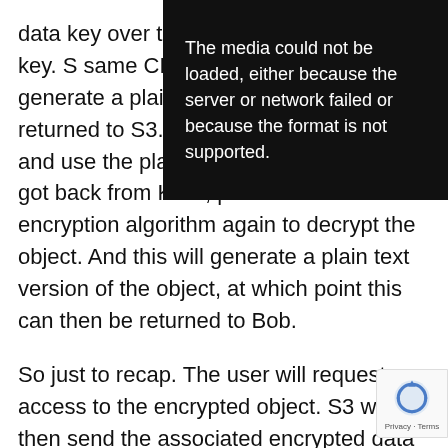data key over to KMS, a plain text data key. S same CMK plus the en will generate a plain te Now just this single pl returned to S3. At this encrypted object and use the plain text data key that it just got back from KMS, perform an encryption algorithm again to decrypt the object. And this will generate a plain text version of the object, at which point this can then be returned to Bob.
[Figure (screenshot): Black video error overlay with white text: 'The media could not be loaded, either because the server or network failed or because the format is not supported.']
So just to recap. The user will request access to the encrypted object. S3 will then send the associated encrypted data key to KMS, to generate a plain text version of that encrypted data key, using the associated CMK. This plain text data key is then sent back to S3. The plain text data key is then used